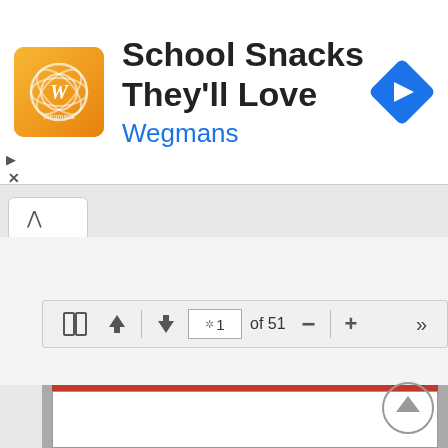[Figure (screenshot): Wegmans advertisement banner with orange logo, title 'School Snacks They'll Love', subtitle 'Wegmans', blue navigation diamond icon on right, play and close buttons on left]
[Figure (screenshot): Browser tab with up-arrow chevron icon]
[Figure (screenshot): PDF viewer toolbar showing layout icon, up/down arrows, loading spinner, page number 1, 'of 51', minus and plus zoom buttons, and forward-skip button]
[Figure (screenshot): Bottom portion of a PDF document page preview with a red bar at top, white page area, and a circular scroll-up button in bottom right]